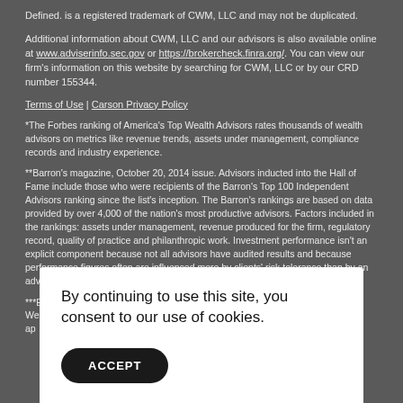Defined. is a registered trademark of CWM, LLC and may not be duplicated.
Additional information about CWM, LLC and our advisors is also available online at www.adviserinfo.sec.gov or https://brokercheck.finra.org/. You can view our firm's information on this website by searching for CWM, LLC or by our CRD number 155344.
Terms of Use | Carson Privacy Policy
*The Forbes ranking of America's Top Wealth Advisors rates thousands of wealth advisors on metrics like revenue trends, assets under management, compliance records and industry experience.
**Barron's magazine, October 20, 2014 issue. Advisors inducted into the Hall of Fame include those who were recipients of the Barron's Top 100 Independent Advisors ranking since the list's inception. The Barron's rankings are based on data provided by over 4,000 of the nation's most productive advisors. Factors included in the rankings: assets under management, revenue produced for the firm, regulatory record, quality of practice and philanthropic work. Investment performance isn't an explicit component because not all advisors have audited results and because performance figures often are influenced more by clients' risk tolerance than by an advisor's investment-picking abilities.
***Each year, Barron's ranks the nation's top independent advisors and Carson Wealth wa... ap...
By continuing to use this site, you consent to our use of cookies.
ACCEPT